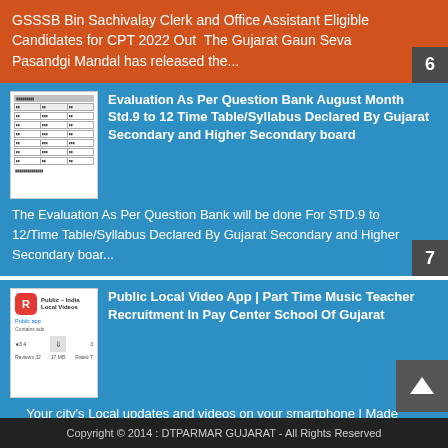GSSSB Bin Sachivalay Clerk and Office Assistant Eligible Candidates for CPT 2022 Out  The Gujarat Gaun Seva Pasandgi Mandal has released the...
[Figure (table-as-image): Thumbnail of a table document in Gujarati/English]
Evaluation As Per Question Bank August Month Std.9 to 12 Time Table/Syllabus Declared By Gujarat Secondary and Higher Secondary board
The Evaluation As Per Question Bank will be done For STD.9 to 12/Time Table/Syllabus Declared By Gujarat Secondary and Higher Secondary boar...
[Figure (screenshot): App store screenshot showing Public - India Local Videos app]
Public Local Video App | Part Time Music Teacher Recruitment In Pay Center School Of Gujarat
Your city's Local updates and videos on your smartphone | Made In India app. Public is your city's own local app , that brings to y...
Copyright © 2014 : DTPARMAR GUJARAT - All Rights Reserved